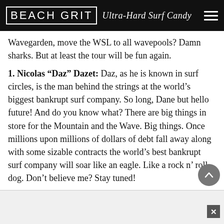BEACH GRIT Ultra-Hard Surf Candy
Wavegarden, move the WSL to all wavepools? Damn sharks. But at least the tour will be fun again.
1. Nicolas “Daz” Dazet: Daz, as he is known in surf circles, is the man behind the strings at the world’s biggest bankrupt surf company. So long, Dane but hello future! And do you know what? There are big things in store for the Mountain and the Wave. Big things. Once millions upon millions of dollars of debt fall away along with some sizable contracts the world’s best bankrupt surf company will soar like an eagle. Like a rock n’ roll dog. Don’t believe me? Stay tuned!